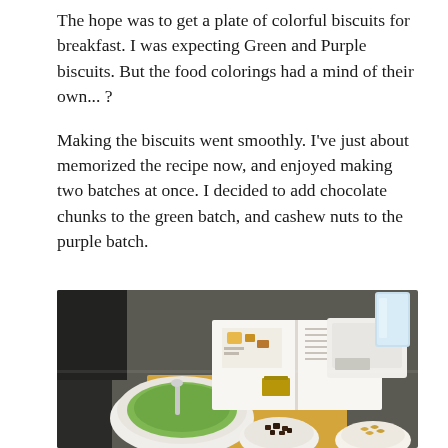The hope was to get a plate of colorful biscuits for breakfast. I was expecting Green and Purple biscuits. But the food colorings had a mind of their own... ?
Making the biscuits went smoothly. I've just about memorized the recipe now, and enjoyed making two batches at once. I decided to add chocolate chunks to the green batch, and cashew nuts to the purple batch.
[Figure (photo): Kitchen counter scene with baking preparation: a bowl of green batter with a spoon, an open recipe book, small bowls with chocolate chunks and cashew nuts, a digital kitchen scale, a glass of water, and other baking ingredients.]